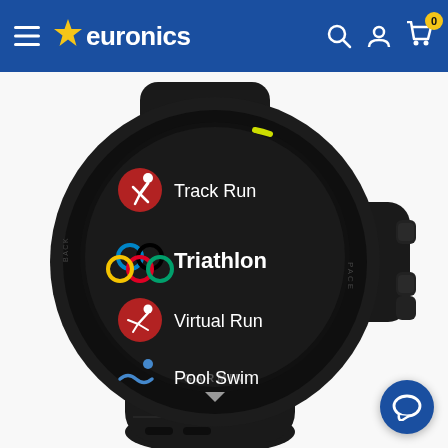euronics
[Figure (photo): Close-up photo of a black Garmin Forerunner GPS smartwatch displaying a sports activity menu on its round screen. The menu shows: Track Run (with red running icon), Triathlon (highlighted in bold, with Olympic rings icon), Virtual Run (with red skiing icon), Pool Swim (with blue swimming icon), and a down arrow. The watch is angled to show the right side buttons. The watch has a black silicone band. A Garmin logo is visible on the bezel. Background is white.]